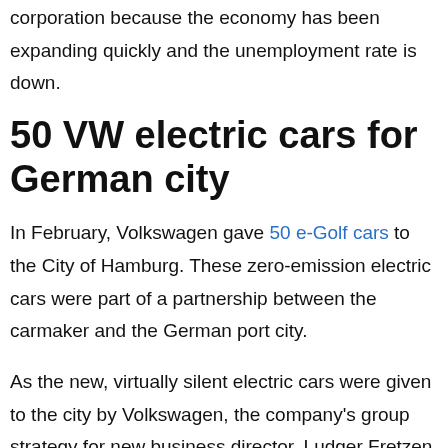corporation because the economy has been expanding quickly and the unemployment rate is down.
50 VW electric cars for German city
In February, Volkswagen gave 50 e-Golf cars to the City of Hamburg. These zero-emission electric cars were part of a partnership between the carmaker and the German port city.
As the new, virtually silent electric cars were given to the city by Volkswagen, the company's group strategy for new business director, Ludger Fretzen, noted that the 50